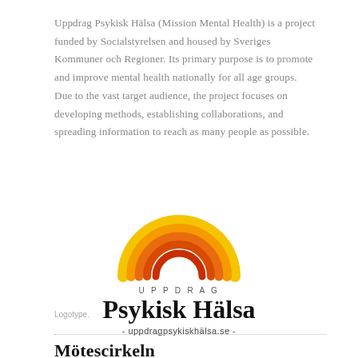Uppdrag Psykisk Hälsa (Mission Mental Health) is a project funded by Socialstyrelsen and housed by Sveriges Kommuner och Regioner. Its primary purpose is to promote and improve mental health nationally for all age groups. Due to the vast target audience, the project focuses on developing methods, establishing collaborations, and spreading information to reach as many people as possible.
[Figure (logo): Uppdrag Psykisk Hälsa logo featuring a rainbow arc in yellow, orange, and red tones above the text 'UPPDRAG Psykisk Hälsa - uppdragpsykiskhälsa.se -']
Logotype.
Mötescirkeln